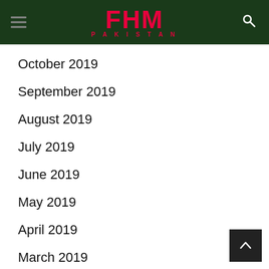FHM PAKISTAN
October 2019
September 2019
August 2019
July 2019
June 2019
May 2019
April 2019
March 2019
February 2019
January 2019
December 2018
November 2018
October 2018